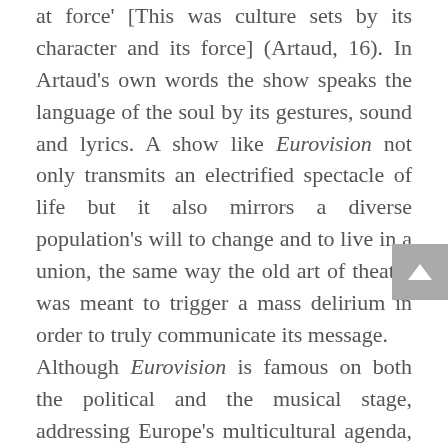at force' [This was culture sets by its character and its force] (Artaud, 16). In Artaud's own words the show speaks the language of the soul by its gestures, sound and lyrics. A show like Eurovision not only transmits an electrified spectacle of life but it also mirrors a diverse population's will to change and to live in a union, the same way the old art of theatre was meant to trigger a mass delirium in order to truly communicate its message.
Although Eurovision is famous on both the political and the musical stage, addressing Europe's multicultural agenda, further work needs to be done to clear some alarming red flags. These issues are vital for any future research on Europe and national identity. Thus, one must remember that underestimating national identity cannot enable the construction of a new European identity. Furthermore, future studies should investigate